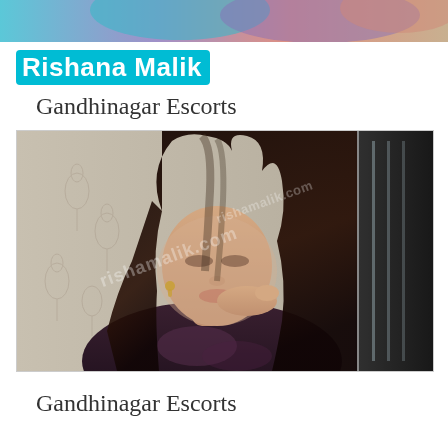[Figure (photo): Cropped top portion of a woman's photo visible as a strip at the top of the page]
Rishana Malik
Gandhinagar Escorts
[Figure (photo): Photo of a young woman with long dark hair, resting her chin on her hand, with a watermark reading 'rishamalik.com' overlaid diagonally]
Gandhinagar Escorts